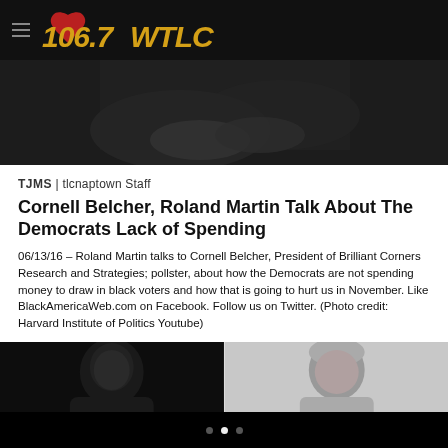106.7 WTLC
[Figure (photo): Dark photo of a person's hands at the top of the article page]
TJMS | tlcnaptown Staff
Cornell Belcher, Roland Martin Talk About The Democrats Lack of Spending
06/13/16 – Roland Martin talks to Cornell Belcher, President of Brilliant Corners Research and Strategies; pollster, about how the Democrats are not spending money to draw in black voters and how that is going to hurt us in November. Like BlackAmericaWeb.com on Facebook. Follow us on Twitter. (Photo credit: Harvard Institute of Politics Youtube)
[Figure (photo): Two side-by-side photos: left shows a dark-skinned man against a dark background, right shows an older man with gray hair against a light background]